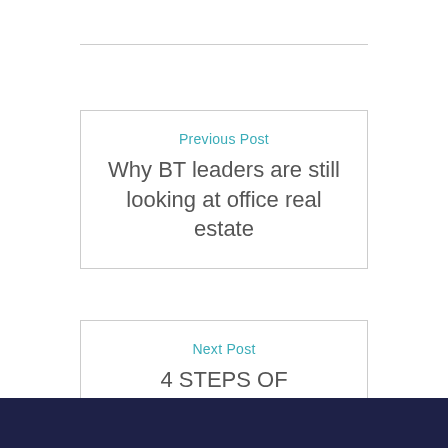Previous Post
Why BT leaders are still looking at office real estate
Next Post
4 STEPS OF LEADERSHIP ALIGNMENT